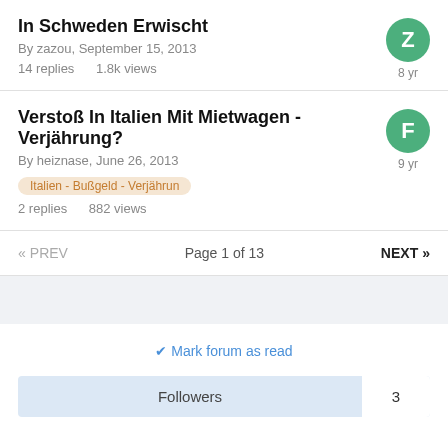In Schweden Erwischt
By zazou, September 15, 2013
14 replies   1.8k views
Verstoß In Italien Mit Mietwagen - Verjährung?
By heiznase, June 26, 2013
Italien - Bußgeld - Verjährun
2 replies   882 views
« PREV   Page 1 of 13   NEXT »
✔ Mark forum as read
Followers   3